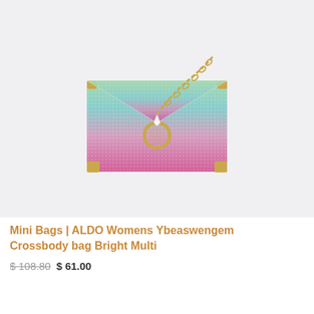[Figure (photo): A rainbow ombre rhinestone crossbody clutch bag with gold chain strap and circular ring clasp, displayed on a light gray background. The bag transitions from green at the top to pink/magenta at the bottom.]
Mini Bags | ALDO Womens Ybeaswengem Crossbody bag Bright Multi
$ 108.80 $ 61.00